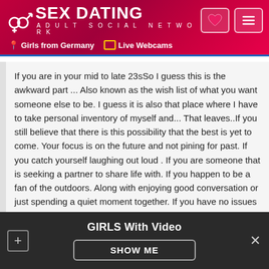SEX DATING ADULT SOCIAL NETWORK — Girls from Germany | Live Webcams
If you are in your mid to late 23sSo I guess this is the awkward part ... Also known as the wish list of what you want someone else to be. I guess it is also that place where I have to take personal inventory of myself and... That leaves..If you still believe that there is this possibility that the best is yet to come. Your focus is on the future and not pining for past. If you catch yourself laughing out loud . If you are someone that is seeking a partner to share life with. If you happen to be a fan of the outdoors. Along with enjoying good conversation or just spending a quiet moment together. If you have no issues with alcohol and can be around a non smoker and are not into drugs . If take care of yourself and are HWP .Throw in some passion and it sounds like we could be a great match for
GIRLS With Video — SHOW ME